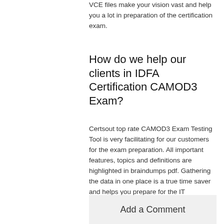VCE files make your vision vast and help you a lot in preparation of the certification exam.
How do we help our clients in IDFA Certification CAMOD3 Exam?
Certsout top rate CAMOD3 Exam Testing Tool is very facilitating for our customers for the exam preparation. All important features, topics and definitions are highlighted in braindumps pdf. Gathering the data in one place is a true time saver and helps you prepare for the IT certification exam within a short time span. The IDFA Certification CDFA Canadian Module 3: Case Studies certification offers key points. The pass4sure dumps helps to memorize the important features or concepts of the IDFA Certification CAMOD3 IT certification.
Add a Comment